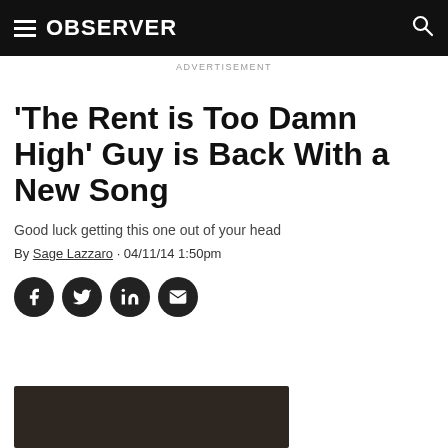OBSERVER
ADVERTISEMENT
'The Rent is Too Damn High' Guy is Back With a New Song
Good luck getting this one out of your head
By Sage Lazzaro · 04/11/14 1:50pm
[Figure (infographic): Social sharing icons: Facebook, Twitter, LinkedIn, Email]
[Figure (photo): Partial thumbnail image at bottom of page, dark tones]